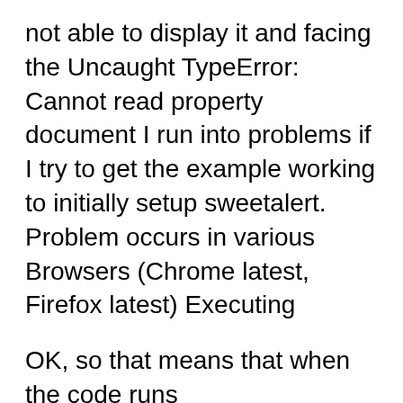not able to display it and facing the Uncaught TypeError: Cannot read property document I run into problems if I try to get the example working to initially setup sweetalert. Problem occurs in various Browsers (Chrome latest, Firefox latest) Executing
OK, so that means that when the code runs document.getElementById("lat"+i) is null. The object does not exist. You'll have to debug it to see what value i has and Participate in discussions with other Treehouse members and learn. Uncaught TypeError: Cannot read property 'addEventListener' of null. Cannot read property